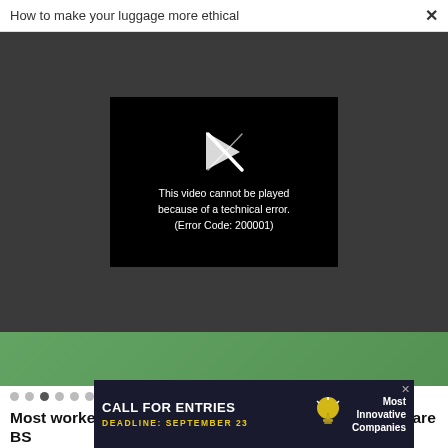How to make your luggage more ethical
[Figure (screenshot): Video player overlay on dark background showing a black video player with a broken play icon and error message: 'This video cannot be played because of a technical error. (Error Code: 200001)']
[Figure (photo): Green banner/image below the video player]
Most workers think their companies' diversity policies are BS
[Figure (other): Advertisement banner: 'CALL FOR ENTRIES DEADLINE: SEPTEMBER 23' with lightbulb icon and text 'Most Innovative Companies']